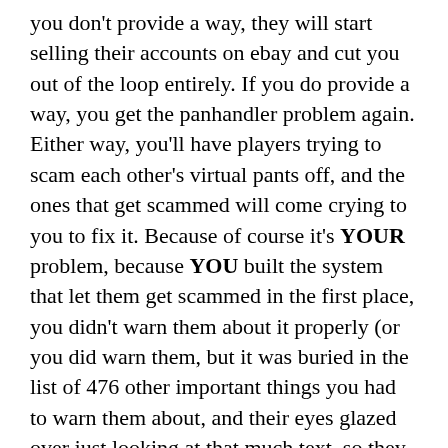you don't provide a way, they will start selling their accounts on ebay and cut you out of the loop entirely. If you do provide a way, you get the panhandler problem again. Either way, you'll have players trying to scam each other's virtual pants off, and the ones that get scammed will come crying to you to fix it. Because of course it's YOUR problem, because YOU built the system that let them get scammed in the first place, you didn't warn them about it properly (or you did warn them, but it was buried in the list of 476 other important things you had to warn them about, and their eyes glazed over just looking at that much text, so they ignored it, which is ALSO your fault). And either way you lose; if you try to hunt down and squash all dishonest players, BAM, your support costs go up because you have to spend time investigating every player complaint AND you'll have more complaints too, because players KNOW that if they screw up you'll fix it, so they will tend to trust scammers way more often because they perceive it as "safe," since a